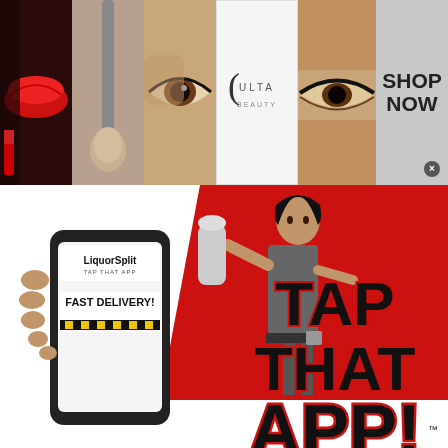[Figure (infographic): Top ULTA beauty banner ad with makeup photos (lips, brush, eye), ULTA Beauty logo, model eyes photo, and SHOP NOW button with close X]
[Figure (infographic): LiquorSplit app advertisement with comic-style illustration. Shows phone with LiquorSplit TAP THAT APP FAST DELIVERY! text, figure holding bottle, TAP THAT APP! logo text in bold black with red outline, yellow Download Now button for 15% Off First Order, and text 'Got a Hangover' / 'from all those']
[Figure (infographic): Bottom ULTA beauty banner ad with makeup photos (lips, brush, eye), ULTA Beauty logo, model eyes photo, and SHOP NOW button with close X circle]
[Figure (photo): Bottom grey/white empty strip]